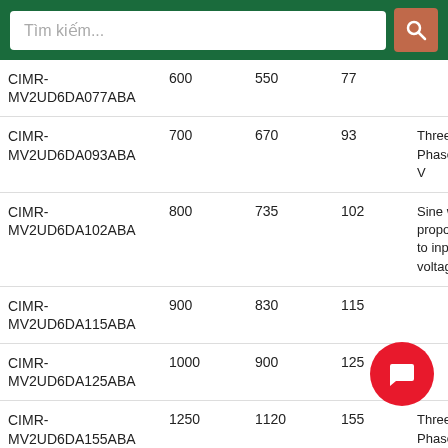Tìm kiếm...
| Model | Col2 | Col3 | Col4 | Output |
| --- | --- | --- | --- | --- |
| CIMR-MV2UD6DA077ABA | 600 | 550 | 77 |  |
| CIMR-MV2UD6DA093ABA | 700 | 670 | 93 | Three-Phase: 41 V |
| CIMR-MV2UD6DA102ABA | 800 | 735 | 102 | Sine wave proportio to input voltage |
| CIMR-MV2UD6DA115ABA | 900 | 830 | 115 |  |
| CIMR-MV2UD6DA125ABA | 1000 | 900 | 125 |  |
| CIMR-MV2UD6DA155ABA | 1250 | 1120 | 155 | Three-Phase: 41 V |
| CIMR-MV2UD6DA190ABA | 1500 | 1370 | 190 | Sine wave proportio to input voltage |
| CIMR- |  |  |  |  |